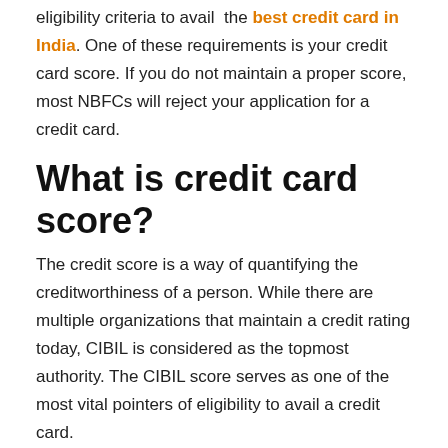eligibility criteria to avail the best credit card in India. One of these requirements is your credit card score. If you do not maintain a proper score, most NBFCs will reject your application for a credit card.
What is credit card score?
The credit score is a way of quantifying the creditworthiness of a person. While there are multiple organizations that maintain a credit rating today, CIBIL is considered as the topmost authority. The CIBIL score serves as one of the most vital pointers of eligibility to avail a credit card.
Your credit score depends on a number of factors, such as your debt repayment history, the ratio of secured and unsecured loans availed, etc. Most